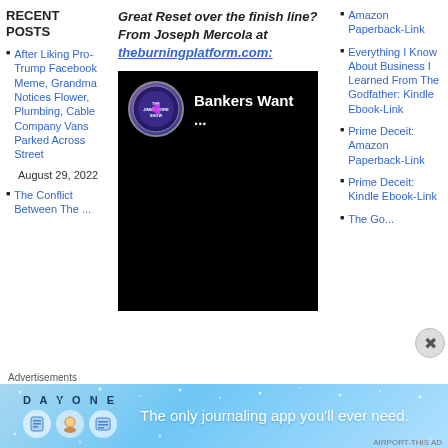RECENT POSTS
After Liking Pro-Trump Facebook Meme, Grandma Notices Flower, Plumbing, Cable Company Vans Parked Across Street August 29, 2022
The Conflict Between The ...
Great Reset over the finish line? From Joseph Mercola at theburningplatform.com:
[Figure (screenshot): Video thumbnail showing The Jimmy Dore Show logo and text 'Bankers Want ...' on black background]
Amazon Paperback-Link
Everything I Know About Business I Learned From The Godfather: Kindle Ebook-Link
Prime Deceit: Amazon Paperback-Link
Prime Deceit: Kindle Ebook-Link
Advertisements
[Figure (screenshot): Day One journaling app advertisement banner with text 'The only journaling app you'll ever need.']